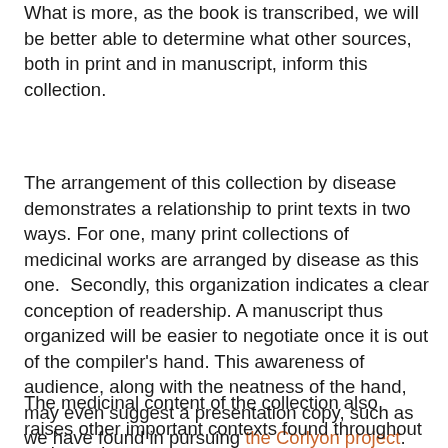What is more, as the book is transcribed, we will be better able to determine what other sources, both in print and in manuscript, inform this collection.
The arrangement of this collection by disease demonstrates a relationship to print texts in two ways. For one, many print collections of medicinal works are arranged by disease as this one.  Secondly, this organization indicates a clear conception of readership. A manuscript thus organized will be easier to negotiate once it is out of the compiler's hand. This awareness of audience, along with the neatness of the hand, may even suggest a presentation copy, such as we have found in pursuing the Corlyon project.  Mrs. Corlyon's collection at the Folger (MS V.a.388), one of three so compiled in exquisite hand, clearly denotes the collections status as gift.
The medicinal content of the collection also raises other important contexts found throughout early modern